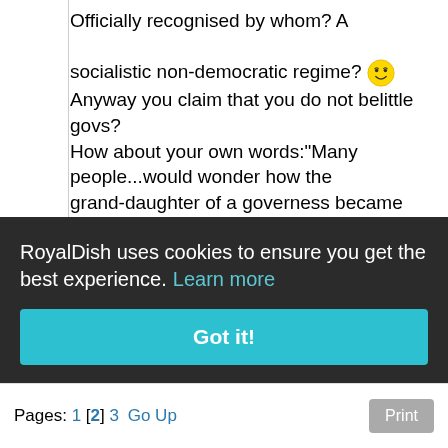Officially recognised by whom? A socialistic non-democratic regime? 😎 Anyway you claim that you do not belittle govs?
How about your own words:"Many people...would wonder how the grand-daughter of a governess became a kind of pseudo CP"
By many people I gather you mean you? I really cannot imagine anyone in this day and age getting a faintingattack because someones grandmother was a governess! Who are these people? Under which rock may I find them in the
ignoring
Logged
RoyalDish uses cookies to ensure you get the best experience. Learn more
Got it!
Pages: 1 [2] 3  Go Up    Print